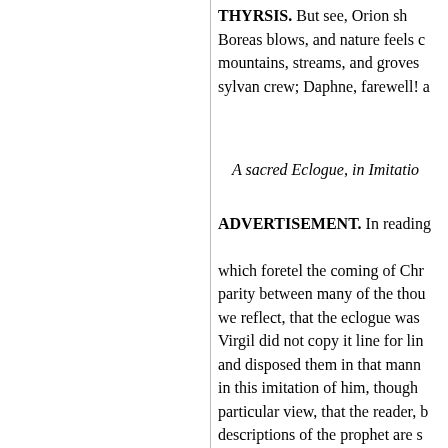THYRSIS. But see, Orion sh... Boreas blows, and nature feels c... mountains, streams, and groves... sylvan crew; Daphne, farewell! a...
A sacred Eclogue, in Imitatio...
ADVERTISEMENT. In reading... which foretel the coming of Chr... parity between many of the thou... we reflect, that the eclogue was... Virgil did not copy it line for li... and disposed them in that mann... in this imitation of him, though... particular view, that the reader, b... descriptions of the prophet are s... management, I shall subjoin the... literal translation.
Y nymphs of Solyma! begin the...
To heavenly themes sublime...